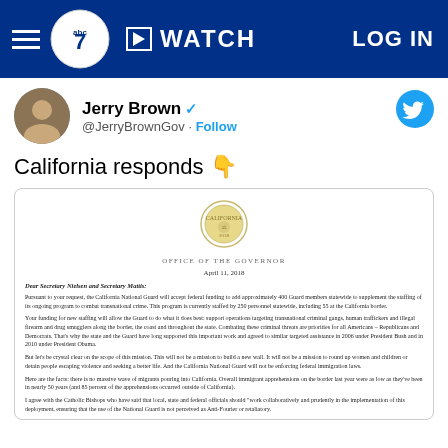WATCH   LOG IN
Jerry Brown @JerryBrownGov · Follow
California responds 👇
[Figure (screenshot): Official letter from Office of the Governor dated April 11, 2018, addressed to Secretary Nielsen and Secretary Mattis, regarding California National Guard accepting federal funding]
Dear Secretary Nielsen and Secretary Mattis: Pursuant to your request, the California National Guard will accept federal funding to add approximately 400 Guard members statewide to supplement the staffing of its ongoing program to combat transnational crime. This program is currently staffed by 250 personnel statewide, including 55 at the California border. Your funding for new staffing will allow the Guard to do what it does best: support operations targeting transnational criminal gangs, human traffickers and illegal firearm and drug smugglers along the border, the coast and throughout the state. Combating these criminal threats are priorities for all Americans – Republicans and Democrats. That's why the state and the Guard have long supported this important work and agreed to similar targeted assistance in 2006 under President Bush and in 2010 under President Obama. But let's be crystal clear on the scope of this mission. This will not be a mission to build a new wall. It will not be a mission to round up women and children or detain people escaping violence and seeking a better life. And the California National Guard will not be enforcing federal immigration laws. Here are the facts: there is no massive wave of migrants pouring into California. Overall immigrant apprehensions on the border last year were as low as they've been in nearly 50 years (and 85 percent of the apprehensions occurred outside of California). I agree with the Catholic Bishops who have said that local, state and federal officials should "work collaboratively and prudently in the implementation of this deployment, ensuring that the use of the National Guard is not perceived as Anti-Fourier or retaliatory."